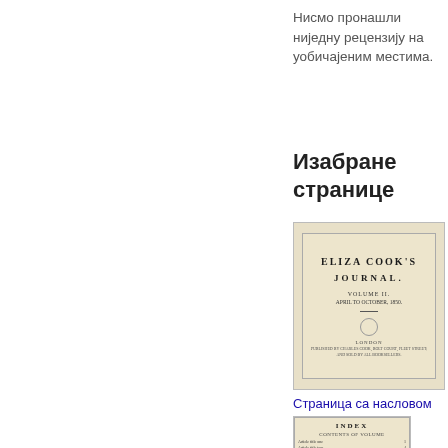Нисмо пронашли ниједну рецензију на уобичајеним местима.
Изабране странице
[Figure (photo): Scanned title page of Eliza Cook's Journal, Volume II, published in London]
Страница са насловом
[Figure (photo): Scanned index page of Eliza Cook's Journal]